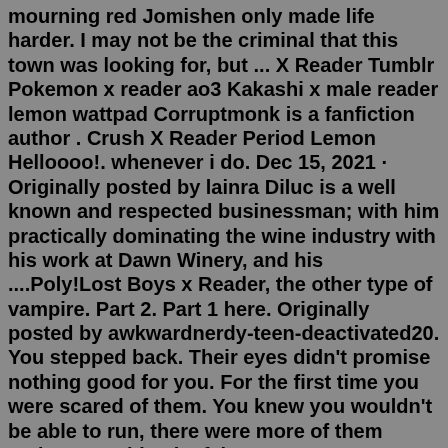mourning red Jomishen only made life harder. I may not be the criminal that this town was looking for, but ... X Reader Tumblr Pokemon x reader ao3 Kakashi x male reader lemon wattpad Corruptmonk is a fanfiction author . Crush X Reader Period Lemon Helloooo!. whenever i do. Dec 15, 2021 · Originally posted by lainra Diluc is a well known and respected businessman; with him practically dominating the wine industry with his work at Dawn Winery, and his ....Poly!Lost Boys x Reader, the other type of vampire. Part 2. Part 1 here. Originally posted by awkwardnerdy-teen-deactivated20. You stepped back. Their eyes didn't promise nothing good for you. For the first time you were scared of them. You knew you wouldn't be able to run, there were more of them and… It wouldn't be fair. - Care to ...A vampire is a creature from folklore that subsists by feeding on the vital essence (generally in the form of blood) of the living.In European folklore, vampires are undead creatures that often visited loved ones and caused mischief or deaths in the neighbourhoods they